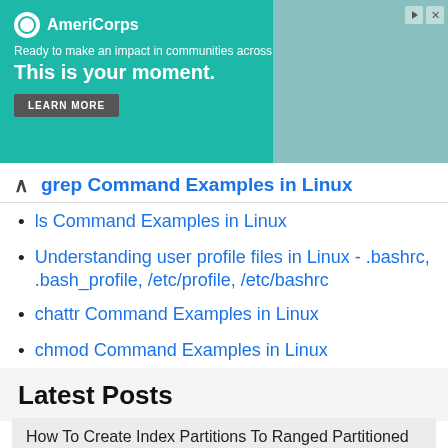[Figure (other): AmeriCorps advertisement banner with teal background. Logo and text: 'Ready to make an impact in communities across the country? This is your moment.' with LEARN MORE button and photo of person on right.]
grep Command Examples in Linux
ls Command Examples in Linux
Understanding user profile files in Linux - .bashrc, .bash_profile, /etc/profile, /etc/bashrc
chattr Command Examples in Linux
chmod Command Examples in Linux
How to set and change Special Permissions In Linux
How to change mac address on Linux temporarily
Latest Posts
How To Create Index Partitions To Ranged Partitioned